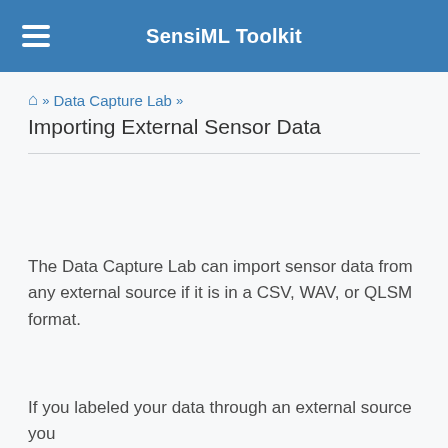SensiML Toolkit
⌂ » Data Capture Lab » Importing External Sensor Data
The Data Capture Lab can import sensor data from any external source if it is in a CSV, WAV, or QLSM format.
If you labeled your data through an external source you